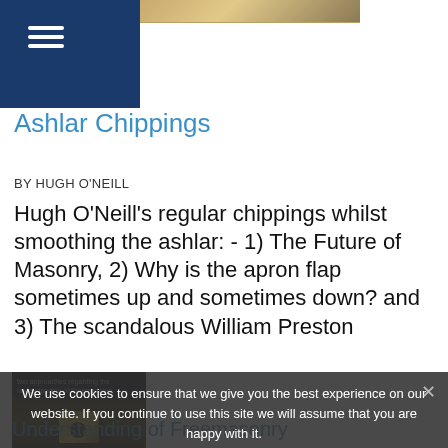Ashlar Chippings
BY HUGH O'NEILL
Hugh O'Neill's regular chippings whilst smoothing the ashlar: - 1) The Future of Masonry, 2) Why is the apron flap sometimes up and sometimes down? and 3) The scandalous William Preston
[Figure (photo): Book cover image showing text 'two approaches regarding the understanding of Freemasonry' with a darkly lit cube-shaped object on a dark background]
We use cookies to ensure that we give you the best experience on our website. If you continue to use this site we will assume that you are happy with it. Ok
Understanding of Freemasonry